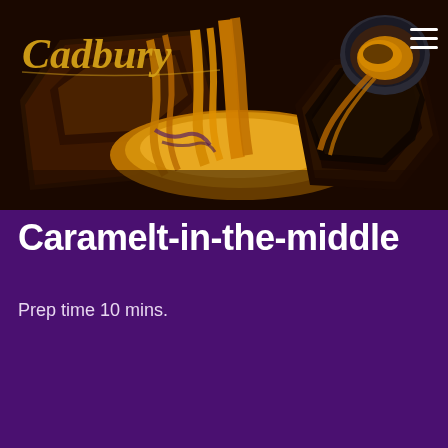[Figure (photo): Cadbury branded hero image showing chocolate caramel brownies cut open with caramel sauce flowing, dark background, Cadbury logo in gold script top left, hamburger menu icon top right]
Caramelt-in-the-middle
Prep time 10 mins.